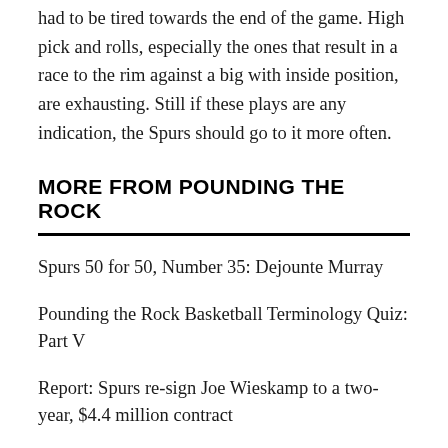had to be tired towards the end of the game. High pick and rolls, especially the ones that result in a race to the rim against a big with inside position, are exhausting. Still if these plays are any indication, the Spurs should go to it more often.
MORE FROM POUNDING THE ROCK
Spurs 50 for 50, Number 35: Dejounte Murray
Pounding the Rock Basketball Terminology Quiz: Part V
Report: Spurs re-sign Joe Wieskamp to a two-year, $4.4 million contract
Open Thread: Happy birthday to both Devin Vassell and Joe Wieskamp
The must-watch games of the 2022-23 Spurs season
Open Thread: Spurs 50 for 50, Number 30: Rodeo...